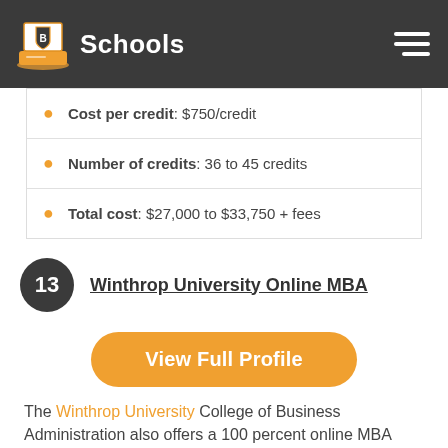B Schools
Cost per credit: $750/credit
Number of credits: 36 to 45 credits
Total cost: $27,000 to $33,750 + fees
13 Winthrop University Online MBA
View Full Profile
The Winthrop University College of Business Administration also offers a 100 percent online MBA